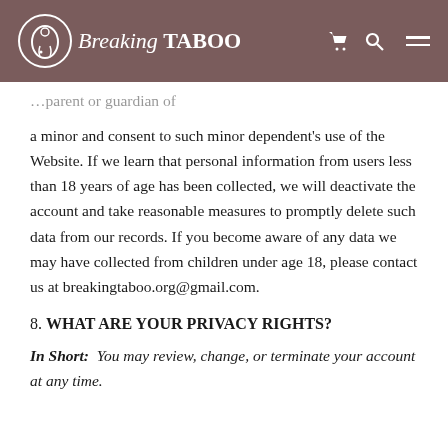Breaking TABOO
a minor and consent to such minor dependent's use of the Website. If we learn that personal information from users less than 18 years of age has been collected, we will deactivate the account and take reasonable measures to promptly delete such data from our records. If you become aware of any data we may have collected from children under age 18, please contact us at breakingtaboo.org@gmail.com.
8. WHAT ARE YOUR PRIVACY RIGHTS?
In Short:  You may review, change, or terminate your account at any time.